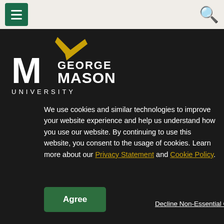[Figure (logo): George Mason University logo with green M, white GEORGE MASON text, and gold stylized checkmark/wing]
We use cookies and similar technologies to improve your website experience and help us understand how you use our website. By continuing to use this website, you consent to the usage of cookies. Learn more about our Privacy Statement and Cookie Policy.
Agree
Decline Non-Essential Cookies